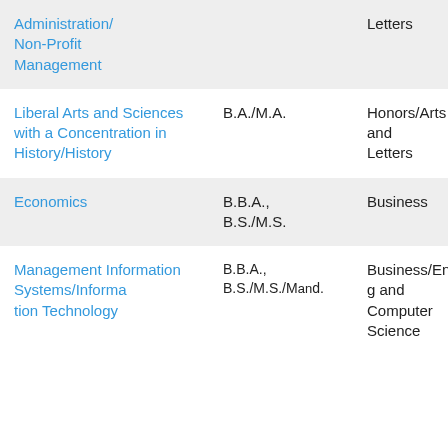| Program | Degree | College |
| --- | --- | --- |
| Administration/
Non-Profit
Management |  | Letters |
| Liberal Arts and Sciences with a Concentration in History/History | B.A./M.A. | Honors/Arts and Letters |
| Economics | B.B.A.,
B.S./M.S. | Business |
| Management Information Systems/Information Technology | B.B.A.,
B.S./M.S./M.B.S. | Business/Engineering and Computer Science |